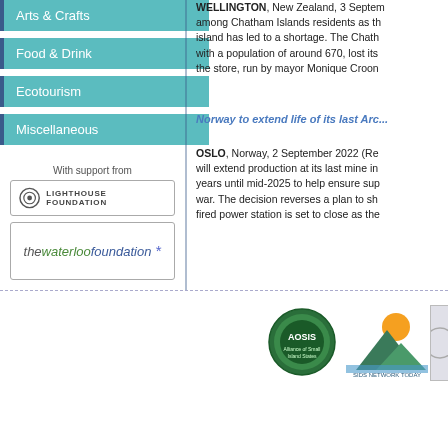Arts & Crafts
Food & Drink
Ecotourism
Miscellaneous
With support from
[Figure (logo): Lighthouse Foundation logo with circular target icon and uppercase text]
[Figure (logo): the waterloo foundation logo with blue and green italic text and asterisk]
WELLINGTON, New Zealand, 3 September 2022 (Reuters) — among Chatham Islands residents as the island has led to a shortage. The Chatham island with a population of around 670, lost its the store, run by mayor Monique Croon...
Norway to extend life of its last Arc...
OSLO, Norway, 2 September 2022 (Re... will extend production at its last mine in... years until mid-2025 to help ensure sup... war. The decision reverses a plan to sh... fired power station is set to close as the...
[Figure (logo): AOSIS (Alliance of Small Island States) circular green logo]
[Figure (logo): SIDS Network Today logo with sun and mountain]
[Figure (logo): Partially visible circular logo on right edge]